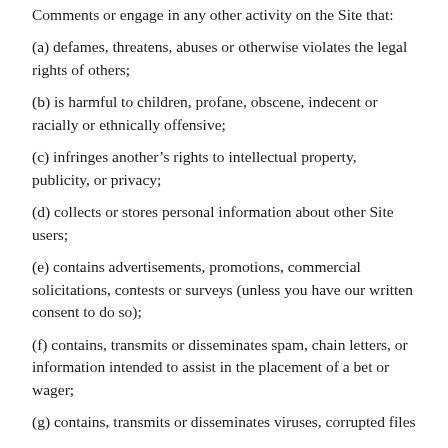Comments or engage in any other activity on the Site that:
(a) defames, threatens, abuses or otherwise violates the legal rights of others;
(b) is harmful to children, profane, obscene, indecent or racially or ethnically offensive;
(c) infringes another’s rights to intellectual property, publicity, or privacy;
(d) collects or stores personal information about other Site users;
(e) contains advertisements, promotions, commercial solicitations, contests or surveys (unless you have our written consent to do so);
(f) contains, transmits or disseminates spam, chain letters, or information intended to assist in the placement of a bet or wager;
(g) contains, transmits or disseminates viruses, corrupted files